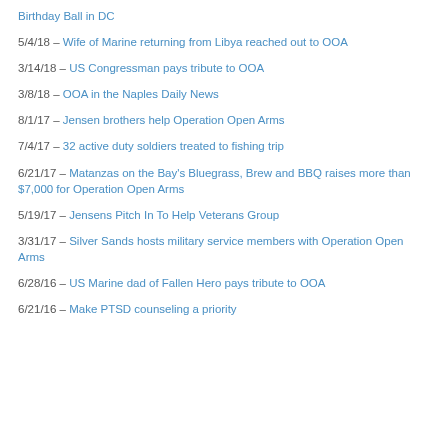Birthday Ball in DC
5/4/18 – Wife of Marine returning from Libya reached out to OOA
3/14/18 – US Congressman pays tribute to OOA
3/8/18 – OOA in the Naples Daily News
8/1/17 – Jensen brothers help Operation Open Arms
7/4/17 – 32 active duty soldiers treated to fishing trip
6/21/17 – Matanzas on the Bay's Bluegrass, Brew and BBQ raises more than $7,000 for Operation Open Arms
5/19/17 – Jensens Pitch In To Help Veterans Group
3/31/17 – Silver Sands hosts military service members with Operation Open Arms
6/28/16 – US Marine dad of Fallen Hero pays tribute to OOA
6/21/16 – Make PTSD counseling a priority